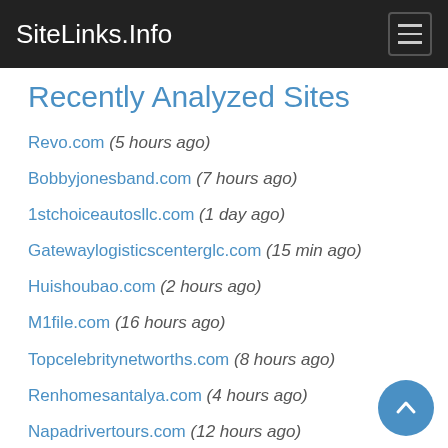SiteLinks.Info
Recently Analyzed Sites
Revo.com (5 hours ago)
Bobbyjonesband.com (7 hours ago)
1stchoiceautosllc.com (1 day ago)
Gatewaylogisticscenterglc.com (15 min ago)
Huishoubao.com (2 hours ago)
M1file.com (16 hours ago)
Topcelebritynetworths.com (8 hours ago)
Renhomesantalya.com (4 hours ago)
Napadrivertours.com (12 hours ago)
Barefootconsultants.com (6 day ago)
Trekksoft.com (3 hours ago)
Tibbo.com (15 hours ago)